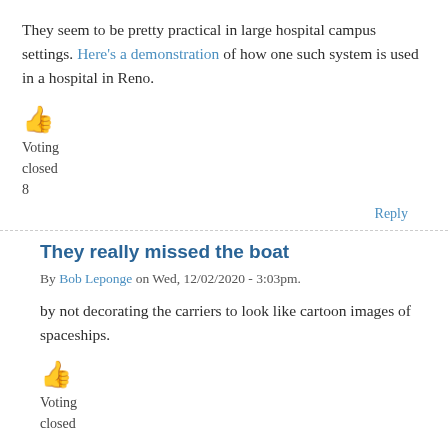They seem to be pretty practical in large hospital campus settings. Here's a demonstration of how one such system is used in a hospital in Reno.
[Figure (illustration): Thumbs up emoji icon in orange/yellow color]
Voting
closed
8
Reply
They really missed the boat
By Bob Leponge on Wed, 12/02/2020 - 3:03pm.
by not decorating the carriers to look like cartoon images of spaceships.
[Figure (illustration): Thumbs up emoji icon in orange/yellow color]
Voting
closed